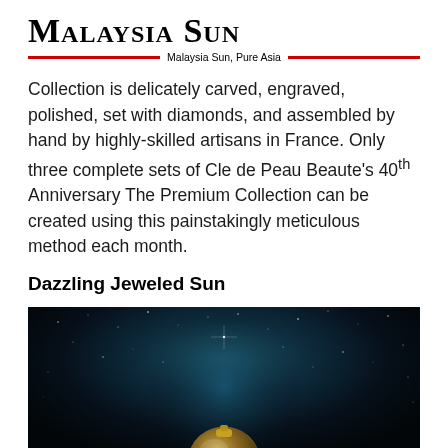Malaysia Sun — Malaysia Sun, Pure Asia
Collection is delicately carved, engraved, polished, set with diamonds, and assembled by hand by highly-skilled artisans in France. Only three complete sets of Cle de Peau Beaute's 40th Anniversary The Premium Collection can be created using this painstakingly meticulous method each month.
Dazzling Jeweled Sun
[Figure (photo): Dark starry space/night sky background with a jeweled golden orb/compact visible at the bottom center of the frame]